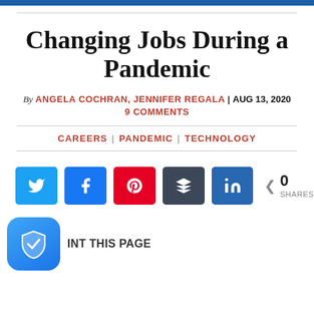Changing Jobs During a Pandemic
By ANGELA COCHRAN, JENNIFER REGALA | AUG 13, 2020
9 COMMENTS
CAREERS | PANDEMIC | TECHNOLOGY
[Figure (infographic): Social sharing buttons: Twitter (blue), Facebook (blue), Pinterest (red), Buffer (dark gray), LinkedIn (blue), and a share count showing 0 SHARES]
INT THIS PAGE